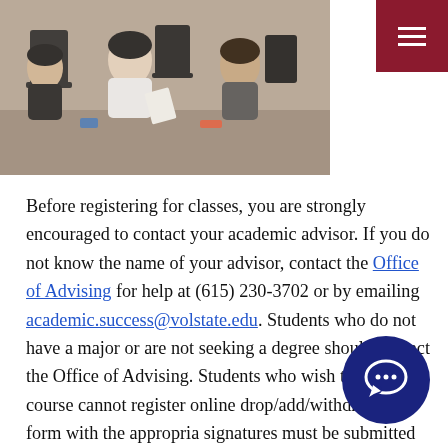[Figure (photo): Students sitting at computers in a classroom, working and looking at papers]
Before registering for classes, you are strongly encouraged to contact your academic advisor. If you do not know the name of your advisor, contact the Office of Advising for help at (615) 230-3702 or by emailing academic.success@volstate.edu. Students who do not have a major or are not seeking a degree should contact the Office of Advising. Students who wish to audit a course cannot register online drop/add/withdrawal form with the appropriate signatures must be submitted to the Records & Registration office. Please contact Records &